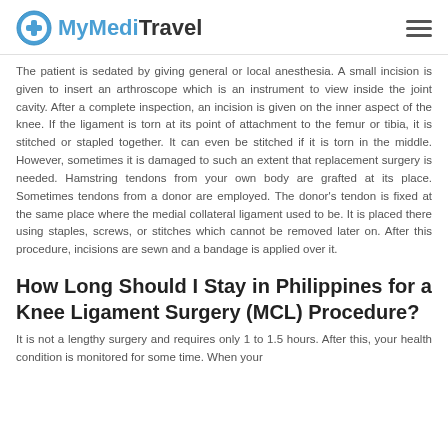MyMediTravel
The patient is sedated by giving general or local anesthesia. A small incision is given to insert an arthroscope which is an instrument to view inside the joint cavity. After a complete inspection, an incision is given on the inner aspect of the knee. If the ligament is torn at its point of attachment to the femur or tibia, it is stitched or stapled together. It can even be stitched if it is torn in the middle. However, sometimes it is damaged to such an extent that replacement surgery is needed. Hamstring tendons from your own body are grafted at its place. Sometimes tendons from a donor are employed. The donor's tendon is fixed at the same place where the medial collateral ligament used to be. It is placed there using staples, screws, or stitches which cannot be removed later on. After this procedure, incisions are sewn and a bandage is applied over it.
How Long Should I Stay in Philippines for a Knee Ligament Surgery (MCL) Procedure?
It is not a lengthy surgery and requires only 1 to 1.5 hours. After this, your health condition is monitored for some time. When your